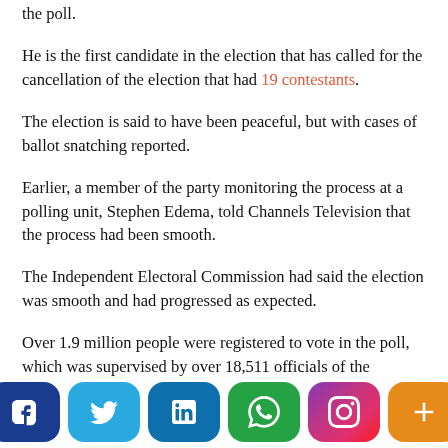the poll.
He is the first candidate in the election that has called for the cancellation of the election that had 19 contestants.
The election is said to have been peaceful, but with cases of ballot snatching reported.
Earlier, a member of the party monitoring the process at a polling unit, Stephen Edema, told Channels Television that the process had been smooth.
The Independent Electoral Commission had said the election was smooth and had progressed as expected.
Over 1.9 million people were registered to vote in the poll, which was supervised by over 18,511 officials of the Independent National Electoral Commission (INEC), with 19 candidates contesting for the position of governor.
[Figure (infographic): Social media sharing buttons: Facebook, Twitter, LinkedIn, WhatsApp, Instagram, More]